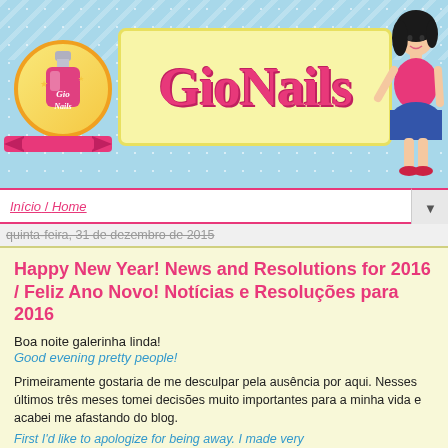[Figure (illustration): GioNails blog header with light blue polka dot background, yellow title box with 'GioNails' in pink bold text, circular nail polish logo on the left, and a cartoon girl illustration on the right]
Início / Home
quinta-feira, 31 de dezembro de 2015
Happy New Year! News and Resolutions for 2016 / Feliz Ano Novo! Notícias e Resoluções para 2016
Boa noite galerinha linda!
Good evening pretty people!
Primeiramente gostaria de me desculpar pela ausência por aqui. Nesses últimos três meses tomei decisões muito importantes para a minha vida e acabei me afastando do blog.
First I'd like to apologize for being away. I made very